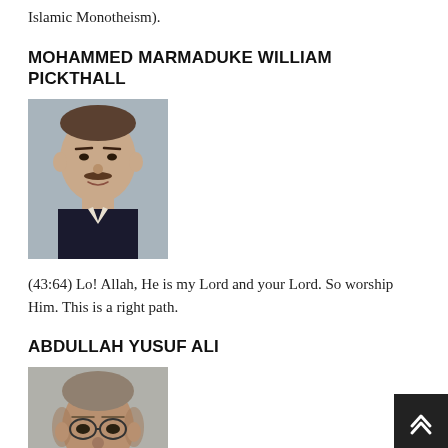Islamic Monotheism).
MOHAMMED MARMADUKE WILLIAM PICKTHALL
[Figure (photo): Portrait photo of Mohammed Marmaduke William Pickthall, a man in formal attire with a mustache]
(43:64) Lo! Allah, He is my Lord and your Lord. So worship Him. This is a right path.
ABDULLAH YUSUF ALI
[Figure (photo): Portrait photo of Abdullah Yusuf Ali, an older bald man in formal attire]
(43:64) For Allah, He is my Lord and your Lord: so worship ye Him; this is a Straight Way.